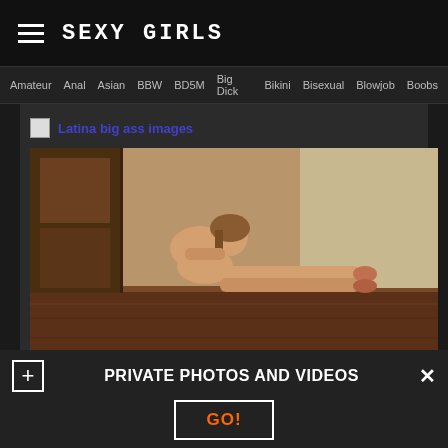SEXY GIRLS
Amateur  Anal  Asian  BBW  BD5M  Big Dick  Bikini  Bisexual  Blowjob  Boobs
Latina big ass images
[Figure (photo): Young woman posed on a wooden floor in an interior room, stretching forward with legs extended]
PRIVATE PHOTOS AND VIDEOS
GO!